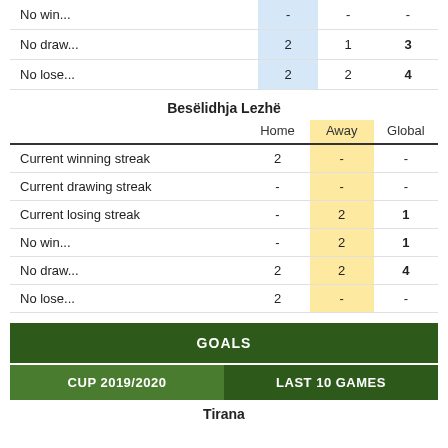|  | Home | Away | Global |
| --- | --- | --- | --- |
| No win... | - | - | - |
| No draw... | 2 | 1 | 3 |
| No lose... | 2 | 2 | 4 |
Besëlidhja Lezhë
|  | Home | Away | Global |
| --- | --- | --- | --- |
| Current winning streak | 2 | - | - |
| Current drawing streak | - | - | - |
| Current losing streak | - | 2 | 1 |
| No win... | - | 2 | 1 |
| No draw... | 2 | 2 | 4 |
| No lose... | 2 | - | - |
GOALS
CUP 2019/2020   LAST 10 GAMES
Tirana